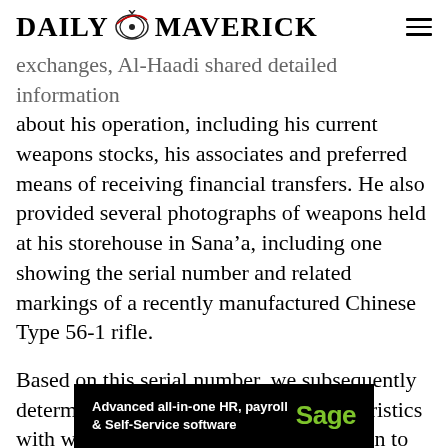DAILY MAVERICK
exchanges, Al-Haadi shared detailed information about his operation, including his current weapons stocks, his associates and preferred means of receiving financial transfers. He also provided several photographs of weapons held at his storehouse in Sana’a, including one showing the serial number and related markings of a recently manufactured Chinese Type 56-1 rifle.
Based on this serial number, we subsequently determined that the rifle shared characteristics with weapons reportedly provided by Iran to the Houthi movement. Moreover, a Type 56-1 rifle with a highly similar serial number sequence had been
[Figure (other): Sage advertisement banner: 'Advanced all-in-one HR, payroll & Self-Service software' with Sage logo in green on black background]